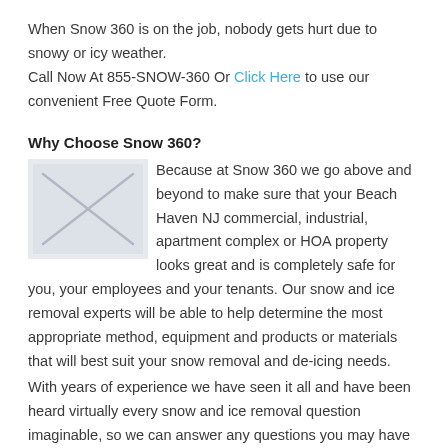When Snow 360 is on the job, nobody gets hurt due to snowy or icy weather.
Call Now At 855-SNOW-360 Or Click Here to use our convenient Free Quote Form.
Why Choose Snow 360?
Because at Snow 360 we go above and beyond to make sure that your Beach Haven NJ commercial, industrial, apartment complex or HOA property looks great and is completely safe for you, your employees and your tenants. Our snow and ice removal experts will be able to help determine the most appropriate method, equipment and products or materials that will best suit your snow removal and de-icing needs.
With years of experience we have seen it all and have been heard virtually every snow and ice removal question imaginable, so we can answer any questions you may have and offer expert advice and guidance on what your